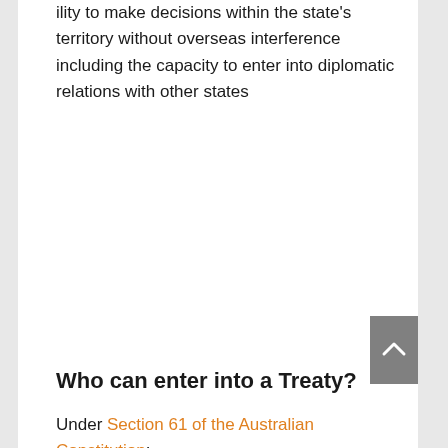ility to make decisions within the state's territory without overseas interference including the capacity to enter into diplomatic relations with other states
Who can enter into a Treaty?
Under Section 61 of the Australian Constitution: